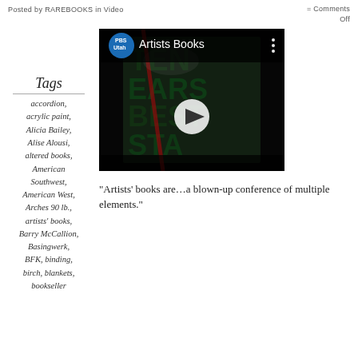Posted by rarebooks in Video
= Comments Off
Tags
accordion,
acrylic paint,
Alicia Bailey,
Alise Alousi,
altered books,
American Southwest,
American West,
Arches 90 lb.,
artists' books,
Barry McCallion,
Basingwerk,
BFK, binding,
birch, blankets,
bookseller
[Figure (screenshot): PBS Utah video thumbnail showing 'Artists Books' with a dark book cover featuring large green and black typographic letters, with a play button overlay]
“Artists’ books are…a blown-up conference of multiple elements.”